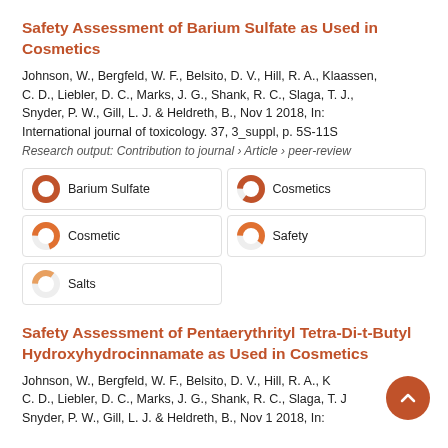Safety Assessment of Barium Sulfate as Used in Cosmetics
Johnson, W., Bergfeld, W. F., Belsito, D. V., Hill, R. A., Klaassen, C. D., Liebler, D. C., Marks, J. G., Shank, R. C., Slaga, T. J., Snyder, P. W., Gill, L. J. & Heldreth, B., Nov 1 2018, In: International journal of toxicology. 37, 3_suppl, p. 5S-11S
Research output: Contribution to journal › Article › peer-review
[Figure (infographic): Keyword badges: Barium Sulfate 100%, Cosmetics ~85%, Cosmetic ~70%, Safety ~60%, Salts ~35%]
Safety Assessment of Pentaerythrityl Tetra-Di-t-Butyl Hydroxyhydrocinnamate as Used in Cosmetics
Johnson, W., Bergfeld, W. F., Belsito, D. V., Hill, R. A., K... C. D., Liebler, D. C., Marks, J. G., Shank, R. C., Slaga, T. J... Snyder, P. W., Gill, L. J. & Heldreth, B., Nov 1 2018, In: